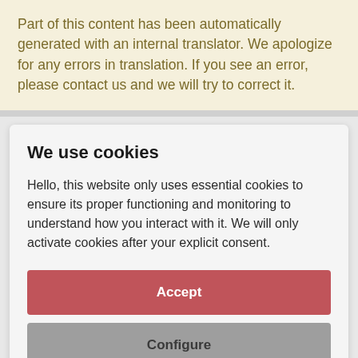Part of this content has been automatically generated with an internal translator. We apologize for any errors in translation. If you see an error, please contact us and we will try to correct it.
We use cookies
Hello, this website only uses essential cookies to ensure its proper functioning and monitoring to understand how you interact with it. We will only activate cookies after your explicit consent.
Accept
Configure
CONTACT | WHO WE ARE |